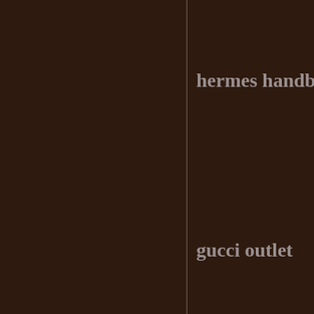hermes handba
gucci outlet
ugg australia
toms shoes